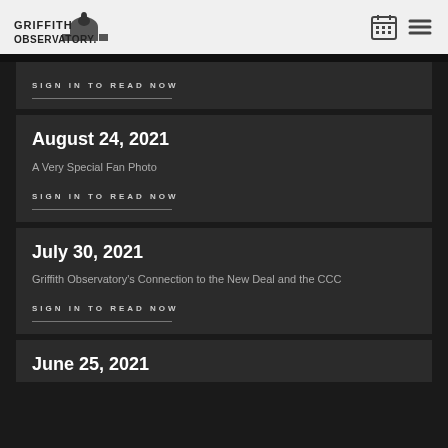GRIFFITH OBSERVATORY
SIGN IN TO READ NOW
August 24, 2021
A Very Special Fan Photo
SIGN IN TO READ NOW
July 30, 2021
Griffith Observatory's Connection to the New Deal and the CCC
SIGN IN TO READ NOW
June 25, 2021